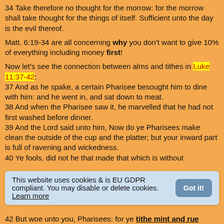34 Take therefore no thought for the morrow: for the morrow shall take thought for the things of itself. Sufficient unto the day is the evil thereof.
Matt. 6:19-34 are all concerning why you don't want to give 10% of everything including money first!
Now let's see the connection between alms and tithes in Luke 11:37-42:
37 And as he spake, a certain Pharisee besought him to dine with him: and he went in, and sat down to meat.
38 And when the Pharisee saw it, he marvelled that he had not first washed before dinner.
39 And the Lord said unto him, Now do ye Pharisees make clean the outside of the cup and the platter; but your inward part is full of ravening and wickedness.
40 Ye fools, did not he that made that which is without
This website uses cookies & is EU GDPR compliant. You may disable or delete cookies. Learn more
42 But woe unto you, Pharisees: for ye tithe mint and rue